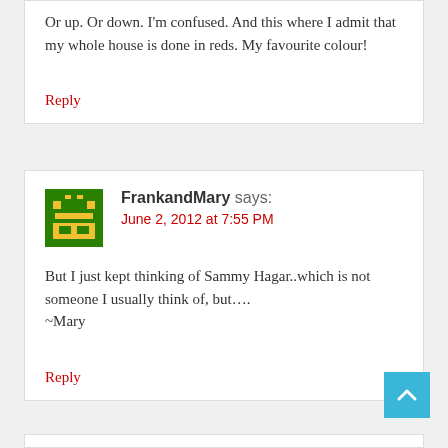Or up. Or down. I'm confused. And this where I admit that my whole house is done in reds. My favourite colour!
Reply
FrankandMary says:
June 2, 2012 at 7:55 PM
But I just kept thinking of Sammy Hagar..which is not someone I usually think of, but….
~Mary
Reply